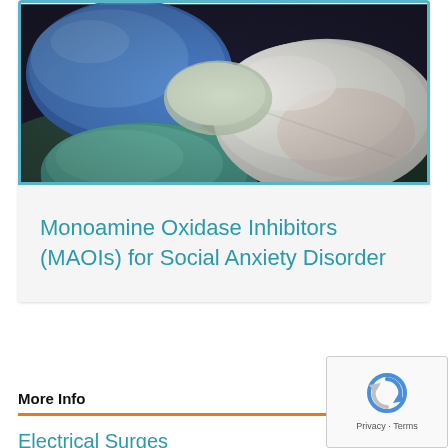[Figure (photo): Close-up photo of colorful pills and tablets: blue, teal, white/pink, and green pills on a dark background, behind a teal border frame.]
Monoamine Oxidase Inhibitors (MAOIs) for Social Anxiety Disorder
More Info
Electrical Surges
Agoraphobia and I